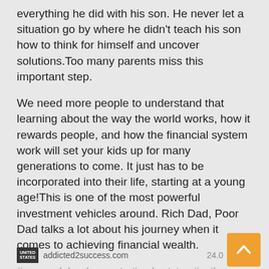everything he did with his son. He never let a situation go by where he didn't teach his son how to think for himself and uncover solutions.Too many parents miss this important step.
We need more people to understand that learning about the way the world works, how it rewards people, and how the financial system work will set your kids up for many generations to come. It just has to be incorporated into their life, starting at a young age!This is one of the most powerful investment vehicles around. Rich Dad, Poor Dad talks a lot about his journey when it comes to achieving financial wealth.
#personal development  #real estate  #author
#robert kiyosaki  #rich dad
addicted2success.com  24.0...  :01